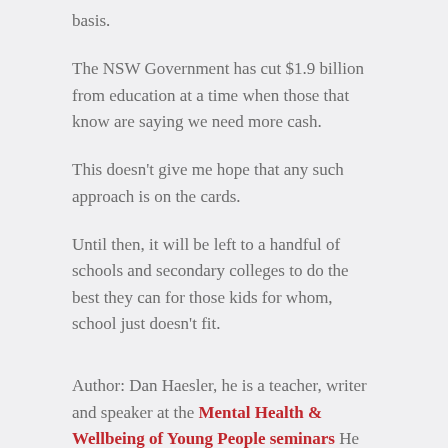basis.
The NSW Government has cut $1.9 billion from education at a time when those that know are saying we need more cash.
This doesn't give me hope that any such approach is on the cards.
Until then, it will be left to a handful of schools and secondary colleges to do the best they can for those kids for whom, school just doesn't fit.
Author: Dan Haesler, he is a teacher, writer and speaker at the Mental Health & Wellbeing of Young People seminars He writes for the Sydney Morning Herald and blogs at http://danhaesler.com/ and tweets at @danhaesler